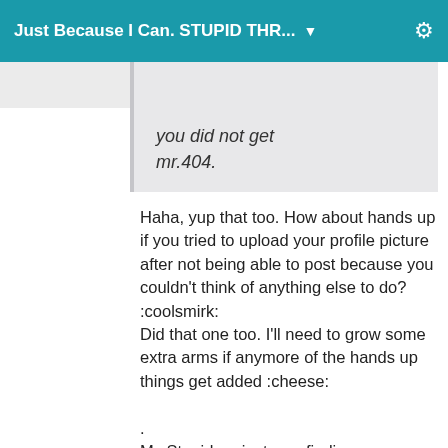Just Because I Can. STUPID THR... ▼
you did not get mr.404.
Haha, yup that too. How about hands up if you tried to upload your profile picture after not being able to post because you couldn't think of anything else to do? :coolsmirk: Did that one too. I'll need to grow some extra arms if anymore of the hands up things get added :cheese:
.
My Stupid project was finding